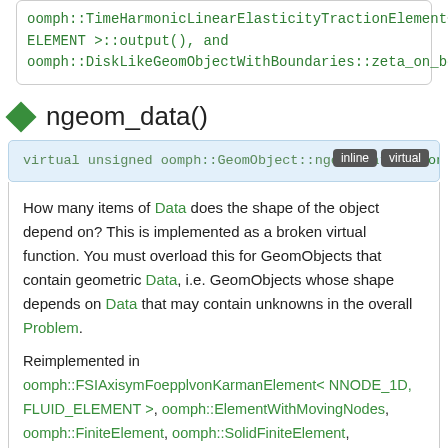oomph::TimeHarmonicLinearElasticityTractionElement< ELEMENT >::output(), and oomph::DiskLikeGeomObjectWithBoundaries::zeta_on_boundary().
ngeom_data()
virtual unsigned oomph::GeomObject::ngeom_data() const [inline, virtual]
How many items of Data does the shape of the object depend on? This is implemented as a broken virtual function. You must overload this for GeomObjects that contain geometric Data, i.e. GeomObjects whose shape depends on Data that may contain unknowns in the overall Problem.
Reimplemented in oomph::FSIAxisymFoepplvonKarmanElement< NNODE_1D, FLUID_ELEMENT >, oomph::ElementWithMovingNodes, oomph::FiniteElement, oomph::SolidFiniteElement, oomph::FaceElementAsGeomObject< ELEMENT >, oomph::StraightLine, oomph::Ellipse, oomph::Circle, oomph::EllipticalTube, oomph::MeshAsGeomObject,